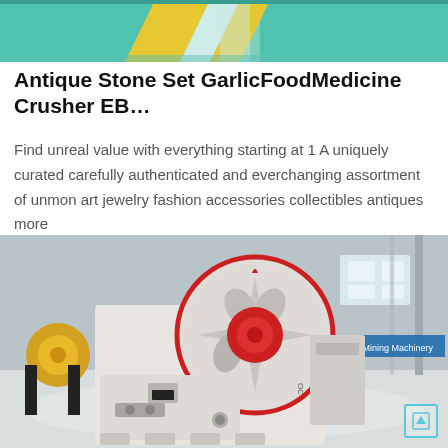[Figure (photo): Top portion of a striped surface with green and yellow diagonal painted lines, appears to be a road or floor marking, partially cropped.]
Antique Stone Set GarlicFoodMedicine Crusher EB…
Find unreal value with everything starting at 1 A uniquely curated carefully authenticated and everchanging assortment of unmon art jewelry fashion accessories collectibles antiques more
[Figure (photo): A large white and red industrial jaw crusher machine photographed inside a factory warehouse. The machine has a prominent circular flywheel with a red center hub, and appears to be a mining/stone crushing machine. In the background are other yellow industrial machines and a Chinese text banner reading 'Leading Mining Machinery'.]